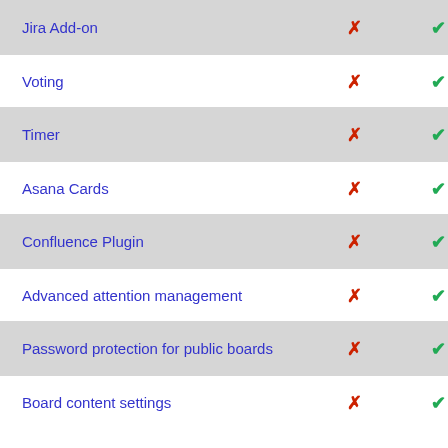| Feature | Plan A | Plan B |
| --- | --- | --- |
| Jira Add-on | ✗ | ✓ |
| Voting | ✗ | ✓ |
| Timer | ✗ | ✓ |
| Asana Cards | ✗ | ✓ |
| Confluence Plugin | ✗ | ✓ |
| Advanced attention management | ✗ | ✓ |
| Password protection for public boards | ✗ | ✓ |
| Board content settings | ✗ | ✓ |